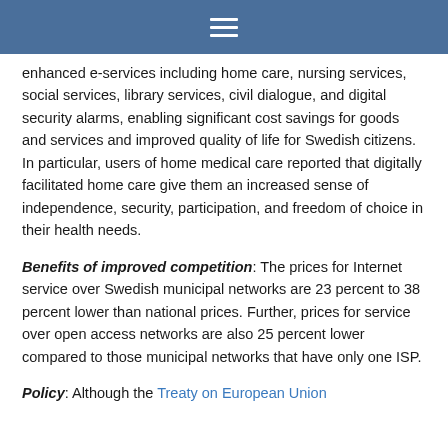≡
enhanced e-services including home care, nursing services, social services, library services, civil dialogue, and digital security alarms, enabling significant cost savings for goods and services and improved quality of life for Swedish citizens. In particular, users of home medical care reported that digitally facilitated home care give them an increased sense of independence, security, participation, and freedom of choice in their health needs.
Benefits of improved competition: The prices for Internet service over Swedish municipal networks are 23 percent to 38 percent lower than national prices. Further, prices for service over open access networks are also 25 percent lower compared to those municipal networks that have only one ISP.
Policy: Although the Treaty on European Union generally prohibits state aid, some argue that it